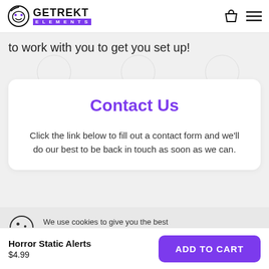GETREKT ELEMENTS
to work with you to get you set up!
Contact Us
Click the link below to fill out a contact form and we'll do our best to be back in touch as soon as we can.
We use cookies to give you the best possible shopping experience, in
Horror Static Alerts $4.99
ADD TO CART